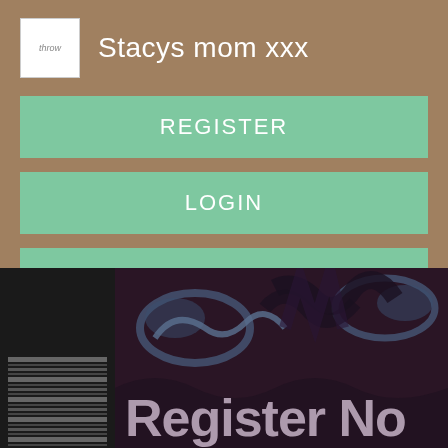Stacys mom xxx
REGISTER
LOGIN
CONTACT US
[Figure (screenshot): Bottom portion showing a decorative dark background with swirling blue/grey cloud motifs, dark calligraphic shapes, and large text 'Register No' partially visible at the bottom.]